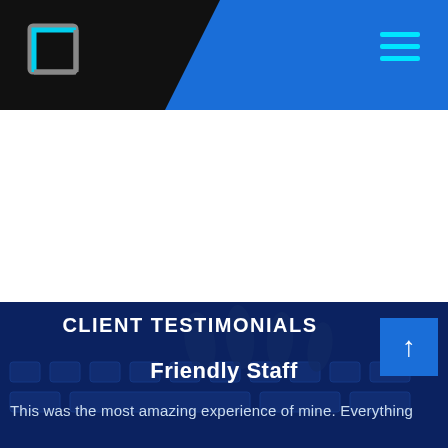WEB HOSTING - Web hosting service website header with logo and navigation
WEB HOSTING
Web hosting is the service that makes your website available to be viewed by others on the Internet.
Click me
CLIENT TESTIMONIALS
Friendly Staff
This was the most amazing experience of mine. Everything